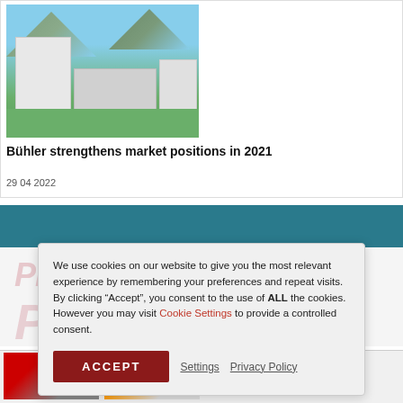[Figure (photo): Aerial view of Bühler industrial campus with white buildings, green grass, and hills in background under blue sky]
Bühler strengthens market positions in 2021
29 04 2022
We use cookies on our website to give you the most relevant experience by remembering your preferences and repeat visits. By clicking “Accept”, you consent to the use of ALL the cookies. However you may visit Cookie Settings to provide a controlled consent.
ACCEPT   Settings  Privacy Policy